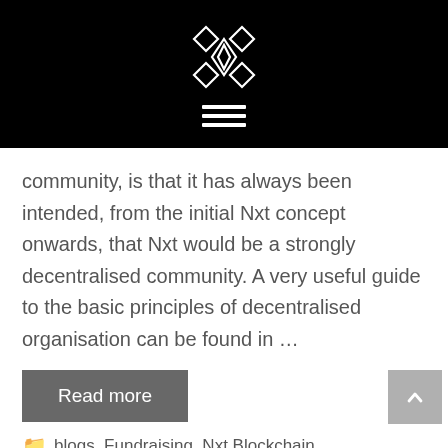[Nxt logo and navigation menu]
community, is that it has always been intended, from the initial Nxt concept onwards, that Nxt would be a strongly decentralised community. A very useful guide to the basic principles of decentralised organisation can be found in …
Read more
blogs, Fundraising, Nxt Blockchain
bitcoin, crowdfunding, decentralised